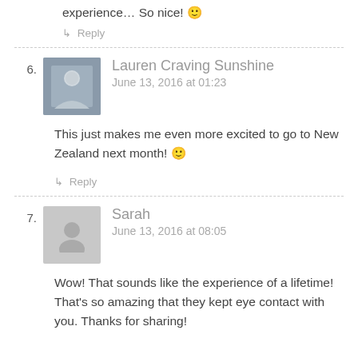experience… So nice! 🙂
↳ Reply
6. Lauren Craving Sunshine
June 13, 2016 at 01:23
This just makes me even more excited to go to New Zealand next month! 🙂
↳ Reply
7. Sarah
June 13, 2016 at 08:05
Wow! That sounds like the experience of a lifetime! That's so amazing that they kept eye contact with you. Thanks for sharing!